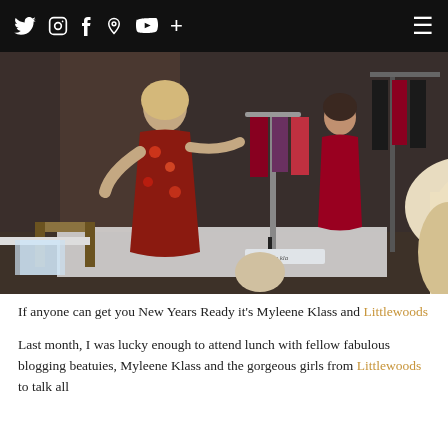Twitter Instagram Facebook Pinterest YouTube + ≡
[Figure (photo): Indoor fashion event scene: a woman in a floral red/black dress presents clothing items on a rack to a seated audience. Another woman in red stands near a clothes rack. Blonde woman in white seated in foreground. Branding reads 'Myleene Klass'.]
If anyone can get you New Years Ready it's Myleene Klass and Littlewoods
Last month, I was lucky enough to attend lunch with fellow fabulous blogging beatuies, Myleene Klass and the gorgeous girls from Littlewoods to talk all